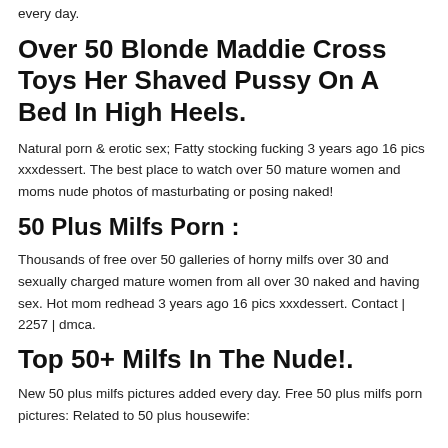every day.
Over 50 Blonde Maddie Cross Toys Her Shaved Pussy On A Bed In High Heels.
Natural porn & erotic sex; Fatty stocking fucking 3 years ago 16 pics xxxdessert. The best place to watch over 50 mature women and moms nude photos of masturbating or posing naked!
50 Plus Milfs Porn :
Thousands of free over 50 galleries of horny milfs over 30 and sexually charged mature women from all over 30 naked and having sex. Hot mom redhead 3 years ago 16 pics xxxdessert. Contact | 2257 | dmca.
Top 50+ Milfs In The Nude!.
New 50 plus milfs pictures added every day. Free 50 plus milfs porn pictures: Related to 50 plus housewife: